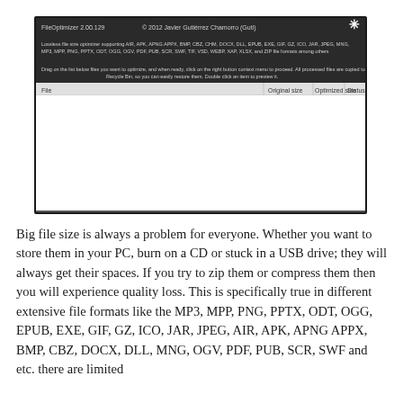[Figure (screenshot): Screenshot of FileOptimizer 2.00.129 application window showing a lossless file size optimizer supporting AIR, APK, APNG, APPX, BMP, CBZ, CHM, DOCX, DLL, EPUB, EXE, GIF, GZ, ICO, JAR, JPEG, MNG, MP3, MPP, PNG, PPTX, ODT, OGG, OGV, PDF, PUB, SCR, SWF, TIF, VSD, WEBP, XAP, XLSX and ZIP file formats. The window has a dark toolbar, descriptive text, and an empty file list with columns: File, Original size, Optimized size, Status.]
Big file size is always a problem for everyone. Whether you want to store them in your PC, burn on a CD or stuck in a USB drive; they will always get their spaces. If you try to zip them or compress them then you will experience quality loss. This is specifically true in different extensive file formats like the MP3, MPP, PNG, PPTX, ODT, OGG, EPUB, EXE, GIF, GZ, ICO, JAR, JPEG, AIR, APK, APNG APPX, BMP, CBZ, DOCX, DLL, MNG, OGV, PDF, PUB, SCR, SWF and etc. there are limited